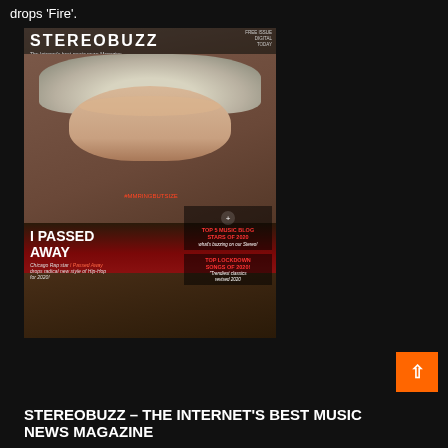drops 'Fire'.
[Figure (photo): Stereobuzz magazine cover featuring a person with curly light hair smiling, wearing a red/black sweater. Cover includes headlines: I PASSED AWAY, TOP 5 MUSIC BLOG STARS OF 2020, TOP LOCKDOWN SONGS OF 2020!]
STEREOBUZZ – THE INTERNET'S BEST MUSIC NEWS MAGAZINE